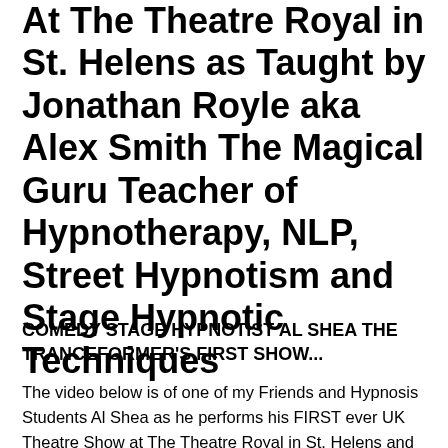At The Theatre Royal in St. Helens as Taught by Jonathan Royle aka Alex Smith The Magical Guru Teacher of Hypnotherapy, NLP, Street Hypnotism and Stage Hypnotic Techniques
COMEDY STAGE HYPNOTIST AL SHEA THE TRANCEFORMER'S FIRST SHOW...
The video below is of one of my Friends and Hypnosis Students Al Shea as he performs his FIRST ever UK Theatre Show at The Theatre Royal in St. Helens and Boy what a wonderful and Hilarious show it was.